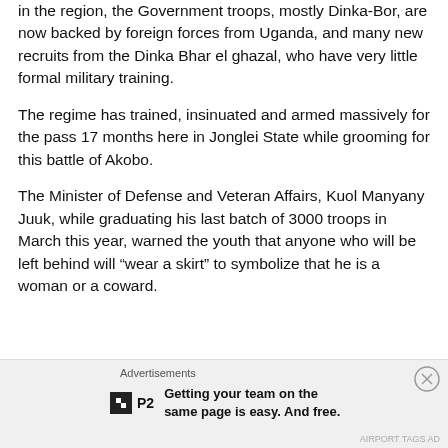in the region, the Government troops, mostly Dinka-Bor, are now backed by foreign forces from Uganda, and many new recruits from the Dinka Bhar el ghazal, who have very little formal military training.
The regime has trained, insinuated and armed massively for the pass 17 months here in Jonglei State while grooming for this battle of Akobo.
The Minister of Defense and Veteran Affairs, Kuol Manyany Juuk, while graduating his last batch of 3000 troops in March this year, warned the youth that anyone who will be left behind will “wear a skirt” to symbolize that he is a woman or a coward.
[Figure (infographic): Advertisement banner for P2 with logo and tagline: Getting your team on the same page is easy. And free.]